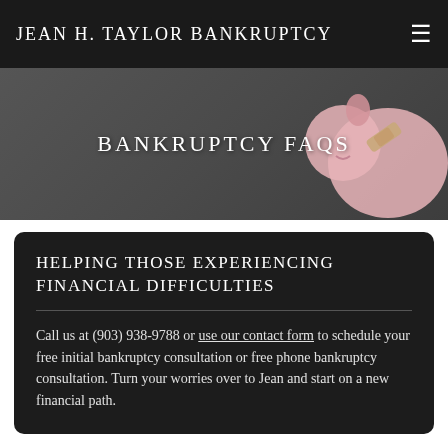JEAN H. TAYLOR BANKRUPTCY
BANKRUPTCY FAQS
HELPING THOSE EXPERIENCING FINANCIAL DIFFICULTIES
Call us at (903) 938-9788 or use our contact form to schedule your free initial bankruptcy consultation or free phone bankruptcy consultation. Turn your worries over to Jean and start on a new financial path.